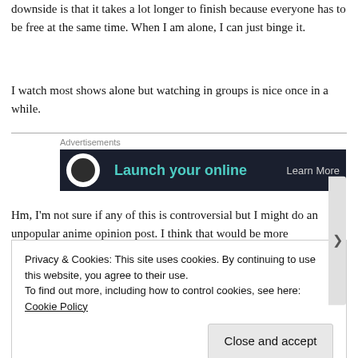downside is that it takes a lot longer to finish because everyone has to be free at the same time. When I am alone, I can just binge it.
I watch most shows alone but watching in groups is nice once in a while.
[Figure (other): Advertisement banner with dark background showing 'Launch your online' text in teal and 'Learn More' on the right, with a circular logo on the left.]
Hm, I'm not sure if any of this is controversial but I might do an unpopular anime opinion post. I think that would be more
Privacy & Cookies: This site uses cookies. By continuing to use this website, you agree to their use.
To find out more, including how to control cookies, see here: Cookie Policy
REPORT THIS AD